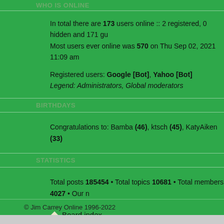WHO IS ONLINE
In total there are 173 users online :: 2 registered, 0 hidden and 171 gu...
Most users ever online was 570 on Thu Sep 02, 2021 11:09 am
Registered users: Google [Bot], Yahoo [Bot]
Legend: Administrators, Global moderators
BIRTHDAYS
Congratulations to: Bamba (46), ktsch (45), KatyAiken (33)
STATISTICS
Total posts 185454 • Total topics 10681 • Total members 4027 • Our n...
Board index
Powered by phpBB © 2000, 2...
© Jim Carrey Online 1996-2022